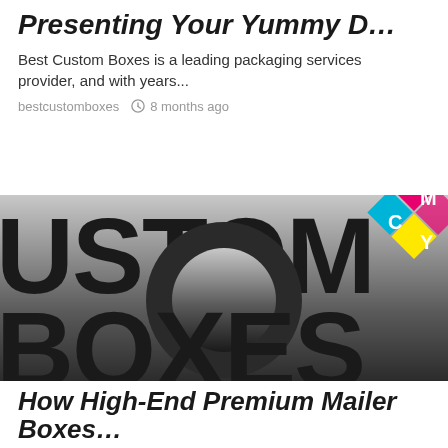Presenting Your Yummy D...
Best Custom Boxes is a leading packaging services provider, and with years...
bestcustomboxes  8 months ago
[Figure (logo): Custom Boxes logo with large black text reading CUSTOM BOXES on a gradient grey-to-black background, with a CMYK color diamond in the top right corner and tagline 'say custom boxe...']
How High-End Premium Mailer Boxes...